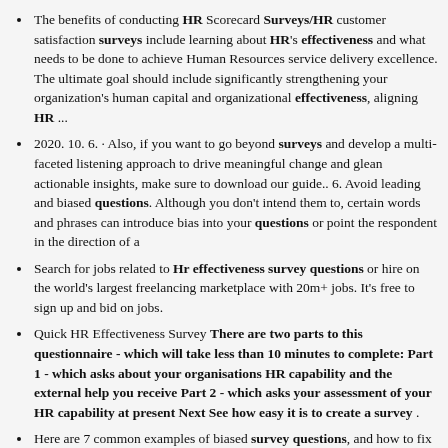The benefits of conducting HR Scorecard Surveys/HR customer satisfaction surveys include learning about HR's effectiveness and what needs to be done to achieve Human Resources service delivery excellence. The ultimate goal should include significantly strengthening your organization's human capital and organizational effectiveness, aligning HR ...
2020. 10. 6. · Also, if you want to go beyond surveys and develop a multi-faceted listening approach to drive meaningful change and glean actionable insights, make sure to download our guide.. 6. Avoid leading and biased questions. Although you don't intend them to, certain words and phrases can introduce bias into your questions or point the respondent in the direction of a
Search for jobs related to Hr effectiveness survey questions or hire on the world's largest freelancing marketplace with 20m+ jobs. It's free to sign up and bid on jobs.
Quick HR Effectiveness Survey There are two parts to this questionnaire - which will take less than 10 minutes to complete: Part 1 - which asks about your organisations HR capability and the external help you receive Part 2 - which asks your assessment of your HR capability at present Next See how easy it is to create a survey .
Here are 7 common examples of biased survey questions, and how to fix them for your customer experience survey. 1.